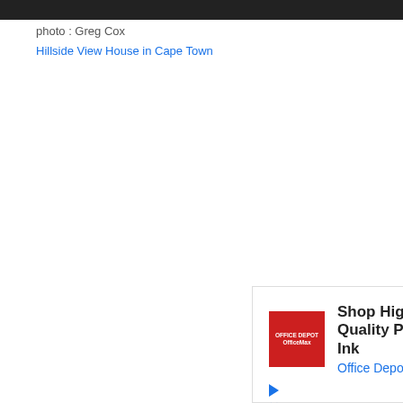[Figure (photo): Partial photo visible at top of page, appears to be a person outdoors in Cape Town, dark background]
photo : Greg Cox
Hillside View House in Cape Town
[Figure (other): Advertisement: Shop High Quality Printer Ink - Office Depot, with Office Depot red logo, blue diamond arrow icon, play button and close button controls]